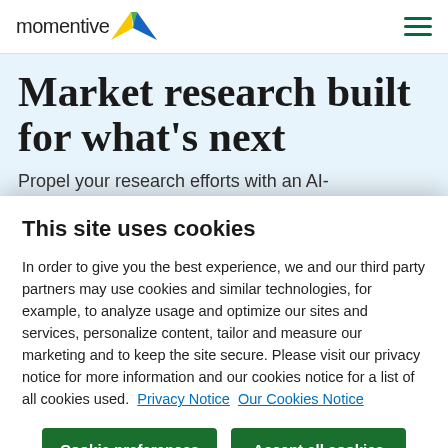momentive [logo]
Market research built for what's next
Propel your research efforts with an AI-
This site uses cookies
In order to give you the best experience, we and our third party partners may use cookies and similar technologies, for example, to analyze usage and optimize our sites and services, personalize content, tailor and measure our marketing and to keep the site secure. Please visit our privacy notice for more information and our cookies notice for a list of all cookies used. Privacy Notice Our Cookies Notice
Cookie preferences | Accept all cookies